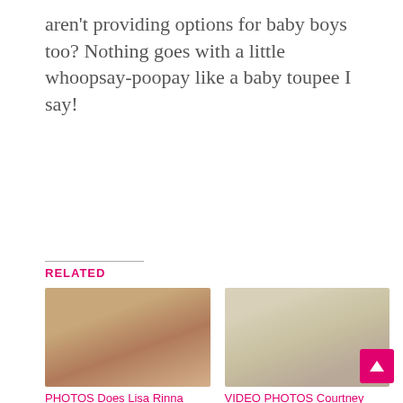aren't providing options for baby boys too? Nothing goes with a little whoopsay-poopay like a baby toupee I say!
RELATED
[Figure (photo): Photo of a bald woman (Lisa Rinna) looking at camera in interior setting]
PHOTOS Does Lisa Rinna wear a wig? Is she bald?
[Figure (photo): Collage of two photos: blonde woman and a woman with dark headpiece]
VIDEO PHOTOS Courtney Stodden shaves her head